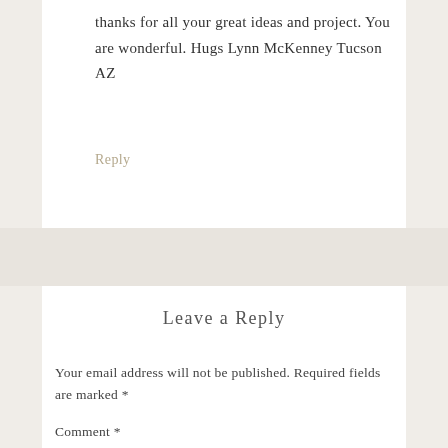thanks for all your great ideas and project. You are wonderful. Hugs Lynn McKenney Tucson AZ
Reply
Leave a Reply
Your email address will not be published. Required fields are marked *
Comment *